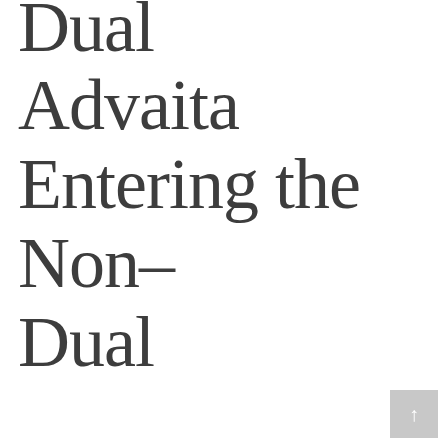Dual Advaita Entering the Non-Dual